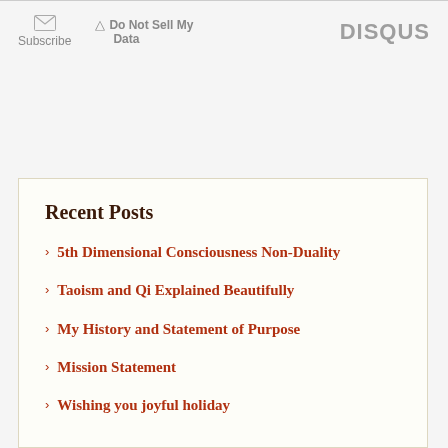Subscribe | Do Not Sell My Data | DISQUS
Recent Posts
5th Dimensional Consciousness Non-Duality
Taoism and Qi Explained Beautifully
My History and Statement of Purpose
Mission Statement
Wishing you joyful holiday